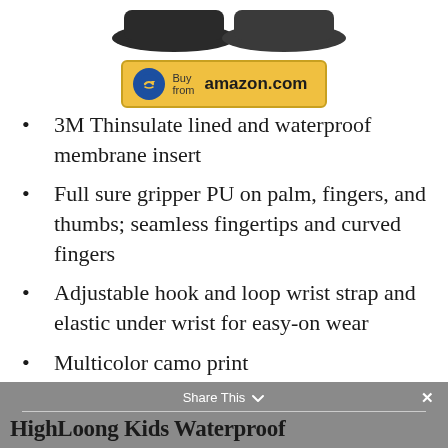[Figure (photo): Partial top view of dark-colored gloves (shoes/gloves product image cropped at top)]
[Figure (logo): Buy from amazon.com button with blue circle arrow logo on gold/yellow background]
3M Thinsulate lined and waterproof membrane insert
Full sure gripper PU on palm, fingers, and thumbs; seamless fingertips and curved fingers
Adjustable hook and loop wrist strap and elastic under wrist for easy-on wear
Multicolor camo print
Nubuck reinforced thumbs
Amazon Best Seller Available in Multiple Sizes and 17 Colors
Share This   ×
HighLoong Kids Waterproof